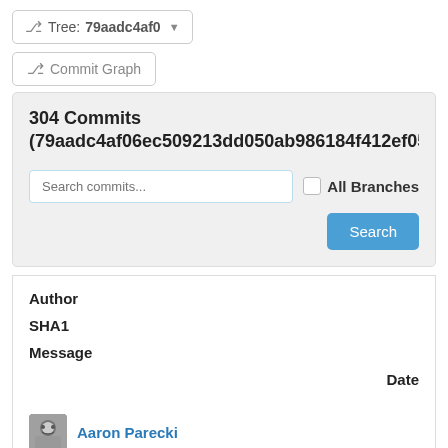Tree: 79aadc4af0
Commit Graph
304 Commits (79aadc4af06ec509213dd050ab986184f412ef05
Search commits...
All Branches
Search
| Author | SHA1 | Message | Date |
| --- | --- | --- | --- |
Aaron Parecki
e5f88779f1